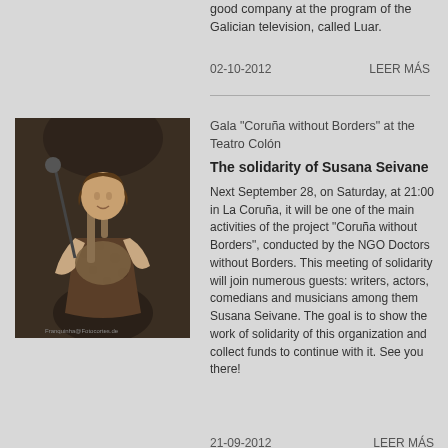good company at the program of the Galician television, called Luar.
02-10-2012    LEER MÁS
Gala "Coruña without Borders" at the Teatro Colón
The solidarity of Susana Seivane
[Figure (photo): Sepia-toned photograph of a woman playing bagpipes on stage]
Next September 28, on Saturday, at 21:00 in La Coruña, it will be one of the main activities of the project "Coruña without Borders", conducted by the NGO Doctors without Borders. This meeting of solidarity will join numerous guests: writers, actors, comedians and musicians among them Susana Seivane. The goal is to show the work of solidarity of this organization and collect funds to continue with it. See you there!
21-09-2012    LEER MÁS